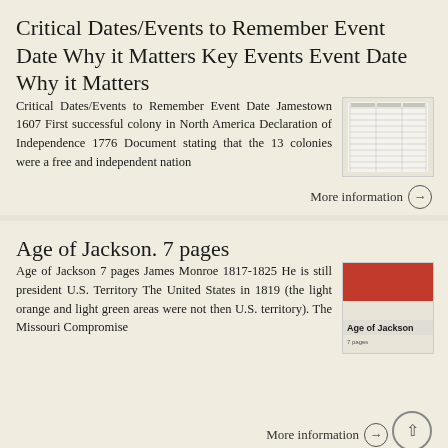Critical Dates/Events to Remember Event Date Why it Matters Key Events Event Date Why it Matters
Critical Dates/Events to Remember Event Date Jamestown 1607 First successful colony in North America Declaration of Independence 1776 Document stating that the 13 colonies were a free and independent nation
[Figure (table-as-image): Thumbnail image of a table document]
More information →
Age of Jackson. 7 pages
Age of Jackson 7 pages James Monroe 1817-1825 He is still president U.S. Territory The United States in 1819 (the light orange and light green areas were not then U.S. territory). The Missouri Compromise
[Figure (illustration): Thumbnail of Age of Jackson book/document cover with red top and labeled text]
More information →